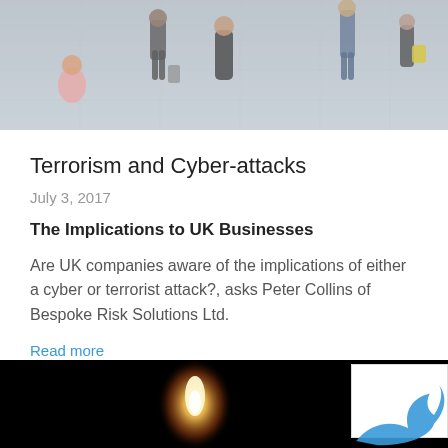[Figure (photo): People walking on a busy street/plaza, pedestrians from above, urban scene]
Terrorism and Cyber-attacks
July 3, 2017
The Implications to UK Businesses
Are UK companies aware of the implications of either a cyber or terrorist attack?, asks Peter Collins of Bespoke Risk Solutions Ltd.
Read more
[Figure (photo): Dark image with a candle flame or small light source against a black background]